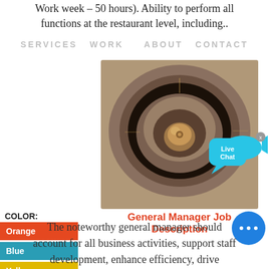Work week – 50 hours). Ability to perform all functions at the restaurant level, including..
SERVICES   WORK   ABOUT   CONTACT
[Figure (photo): Close-up photo of a circular industrial machine part or drain, viewed from above, showing concentric rings and a central knob, in brownish-orange rusted metal tones.]
General Manager Job Description
COLOR:
Orange
Blue
Yellow
The noteworthy general manager should account for all business activities, support staff development, enhance efficiency, drive